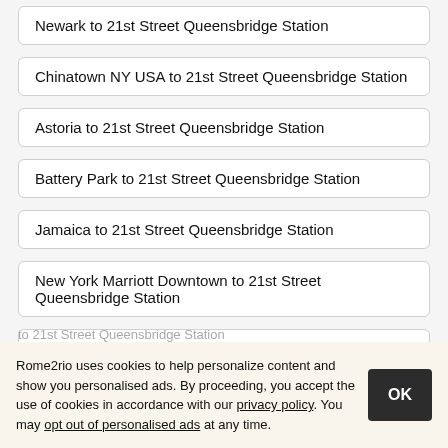Newark to 21st Street Queensbridge Station
Chinatown NY USA to 21st Street Queensbridge Station
Astoria to 21st Street Queensbridge Station
Battery Park to 21st Street Queensbridge Station
Jamaica to 21st Street Queensbridge Station
New York Marriott Downtown to 21st Street Queensbridge Station
Rockaway Ave Jamaica Ave to 21st Street Queensbridge Station
Staten Island to 21st Street Queensbridge Station
Dubai Airport DXB to 21st Street Queensbridge Station
Rome2rio uses cookies to help personalize content and show you personalised ads. By proceeding, you accept the use of cookies in accordance with our privacy policy. You may opt out of personalised ads at any time.